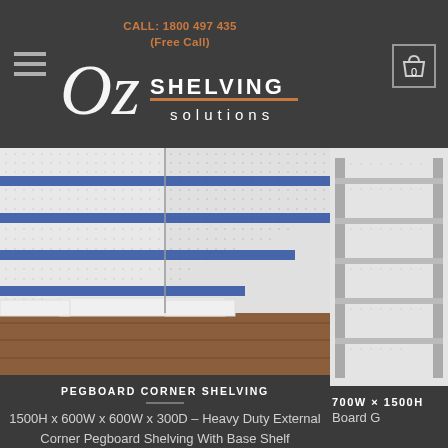CALL: 1800 497 435 (Free Call) - Oz Shelving Solutions logo, cart icon with 0
[Figure (photo): Corner pegboard shelving unit with white perforated board backing, blue horizontal accent strips, and multiple shelf levels, installed in a corner configuration on wooden floor]
PEGBOARD CORNER SHELVING
1500H x 600W x 600W x 300D – Heavy Duty External Corner Pegboard Shelving With Base Shelf
[Figure (photo): Partial view of another shelving product – 700W × 1500H Board G...]
700W × 1500H Board G